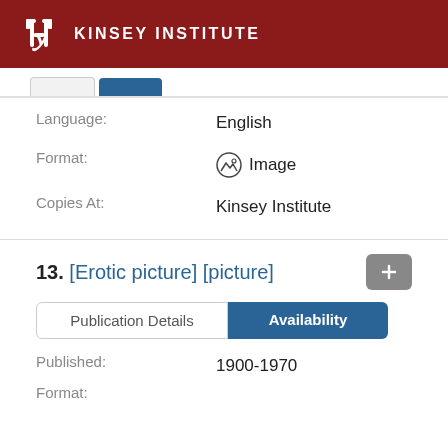KINSEY INSTITUTE
Language:
English
Format:
Image
Copies At:
Kinsey Institute
13. [Erotic picture] [picture]
Publication Details
Availability
Published:
1900-1970
Format: